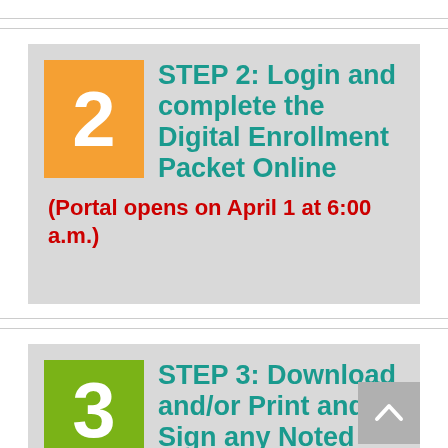STEP 2: Login and complete the Digital Enrollment Packet Online (Portal opens on April 1 at 6:00 a.m.)
STEP 3: Download and/or Print and Sign any Noted